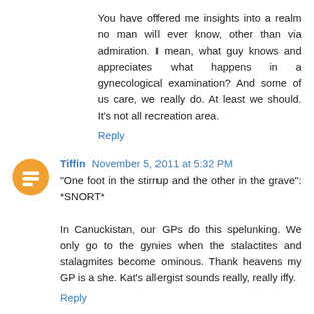You have offered me insights into a realm no man will ever know, other than via admiration. I mean, what guy knows and appreciates what happens in a gynecological examination? And some of us care, we really do. At least we should. It's not all recreation area.
Reply
Tiffin November 5, 2011 at 5:32 PM
"One foot in the stirrup and the other in the grave": *SNORT*

In Canuckistan, our GPs do this spelunking. We only go to the gynies when the stalactites and stalagmites become ominous. Thank heavens my GP is a she. Kat's allergist sounds really, really iffy.
Reply
Stephanie November 5, 2011 at 5:47 PM